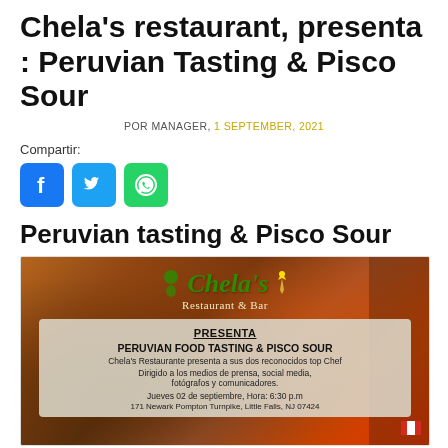Chela's restaurant, presenta : Peruvian Tasting & Pisco Sour
POR MANAGER, 1 SEPTEMBER, 2021
Compartir:
[Figure (illustration): Social media sharing icons: Facebook (blue), Twitter (light blue), WhatsApp (green)]
Peruvian tasting & Pisco Sour
[Figure (photo): Promotional flyer for Chela's Restaurant & Bar showing the logo and event details for Peruvian Food Tasting & Pisco Sour event on Jueves 02 de septiembre, Hora: 6:30 p.m at 171 Newark Pompton Turnpike, Little Falls, NJ 07424]